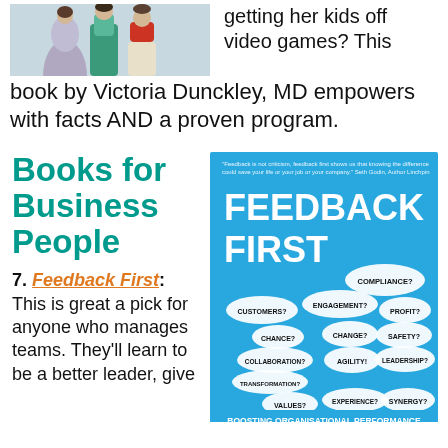[Figure (photo): Photo of people (likely children) viewed from behind, wearing colorful clothing]
getting her kids off video games? This book by Victoria Dunckley, MD empowers with facts AND a proven program.
Books for Business People
7. Feedback First: This is great a pick for anyone who manages teams. They'll learn to be a better leader, give
[Figure (photo): Book cover: FEEDBACK FIRST - Boosting Organisational Performance Through Clear+Calm Communication by Hulbert Evekink with Steven Becker. Blue cover with speech bubbles containing words like Customers, Engagement, Compliance, Profit, Change, Agility, Leadership, Safety, Values, Synergy, etc.]